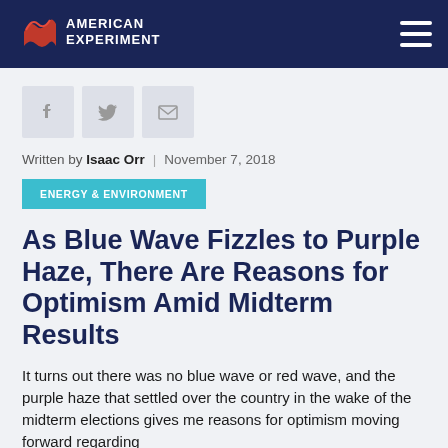American Experiment
[Figure (logo): American Experiment logo with red wave graphic and white text on dark navy background]
Written by Isaac Orr | November 7, 2018
ENERGY & ENVIRONMENT
As Blue Wave Fizzles to Purple Haze, There Are Reasons for Optimism Amid Midterm Results
It turns out there was no blue wave or red wave, and the purple haze that settled over the country in the wake of the midterm elections gives me reasons for optimism moving forward regarding